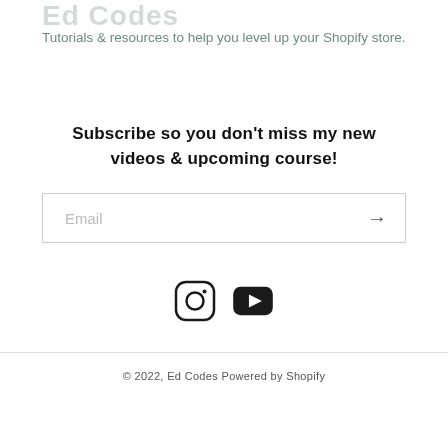Ed Codes
Tutorials & resources to help you level up your Shopify store.
Subscribe so you don't miss my new videos & upcoming course!
Email
[Figure (illustration): Instagram and YouTube social media icons]
© 2022, Ed Codes Powered by Shopify